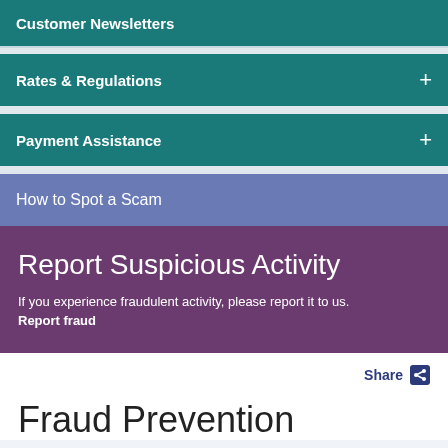Customer Newsletters
Rates & Regulations
Payment Assistance
How to Spot a Scam
Report Suspicious Activity
If you experience fraudulent activity, please report it to us. Report fraud
Share
Fraud Prevention